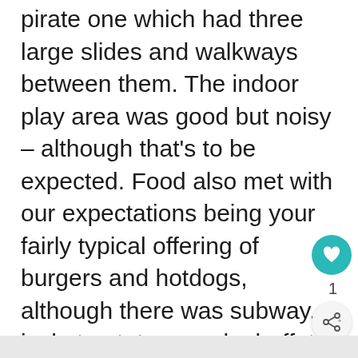pirate one which had three large slides and walkways between them. The indoor play area was good but noisy – although that's to be expected. Food also met with our expectations being your fairly typical offering of burgers and hotdogs, although there was subway, jacket potatoes and a buffet too, so plenty of choice. We can recommend the hot donuts, especially on what turned out to be a cold for August wet day.
[Figure (infographic): Teal circular like/heart button, share button with count of 1, and a 'WHAT'S NEXT' sidebar thumbnail with text '4 Ways to Sterilise...']